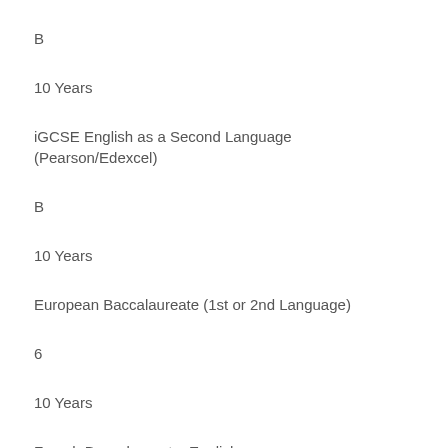B
10 Years
iGCSE English as a Second Language (Pearson/Edexcel)
B
10 Years
European Baccalaureate (1st or 2nd Language)
6
10 Years
French Baccalaureate: English